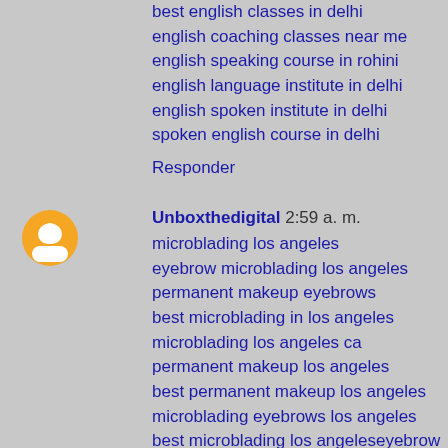best english classes in delhi
english coaching classes near me
english speaking course in rohini
english language institute in delhi
english spoken institute in delhi
spoken english course in delhi
Responder
Unboxthedigital 2:59 a. m.
microblading los angeles
eyebrow microblading los angeles
permanent makeup eyebrows
best microblading in los angeles
microblading los angeles ca
permanent makeup los angeles
best permanent makeup los angeles
microblading eyebrows los angeles
best microblading los angeleseyebrow microblading